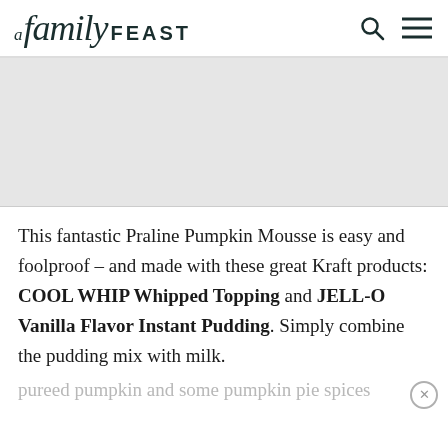A family FEAST
[Figure (photo): Light gray placeholder image area for food blog content]
This fantastic Praline Pumpkin Mousse is easy and foolproof – and made with these great Kraft products: COOL WHIP Whipped Topping and JELL-O Vanilla Flavor Instant Pudding. Simply combine the pudding mix with milk.
pureed pumpkin and some pumpkin pie spices